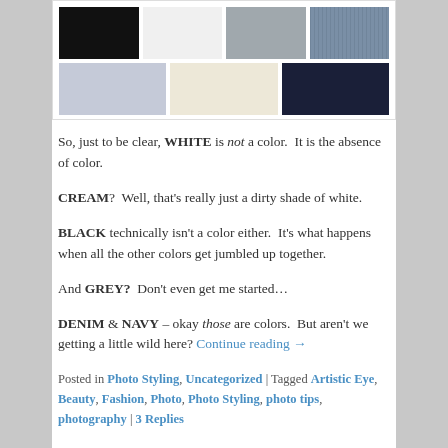[Figure (illustration): Grid of color swatches: top row has black, white/light gray, medium gray, denim/blue-gray; bottom row has lavender/light blue-gray, cream/beige, navy dark blue.]
So, just to be clear, WHITE is not a color. It is the absence of color.
CREAM? Well, that’s really just a dirty shade of white.
BLACK technically isn’t a color either. It’s what happens when all the other colors get jumbled up together.
And GREY? Don’t even get me started…
DENIM & NAVY – okay those are colors. But aren’t we getting a little wild here? Continue reading →
Posted in Photo Styling, Uncategorized | Tagged Artistic Eye, Beauty, Fashion, Photo, Photo Styling, photo tips, photography | 3 Replies